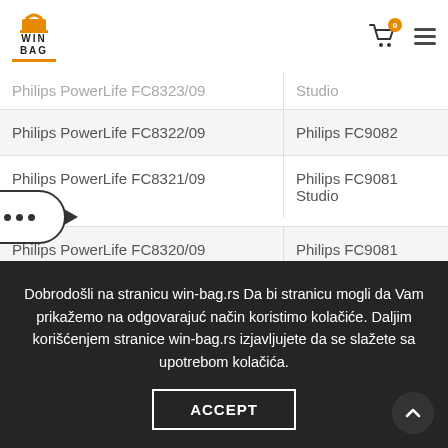[Figure (logo): WIN BAG logo with orange icon and underline]
Philips PowerLife FC8323/09 — Studio
Philips PowerLife FC8322/09 — Philips FC9082
Philips PowerLife FC8321/09 — Philips FC9081 Studio
Philips PowerLife FC8320/09 — Philips FC9081
Philips PowerLife FC 845... (partial)
Dobrodošli na stranicu win-bag.rs Da bi stranicu mogli da Vam prikažemo na odgovarajuć način koristimo kolačiće. Daljim korišćenjem stranice win-bag.rs izjavljujete da se slažete sa upotrebom kolačića.